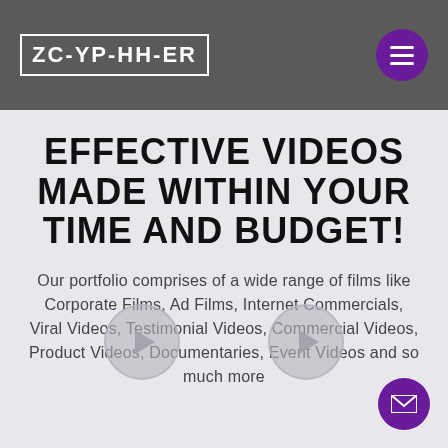ZC-YP-HH-ER
EFFECTIVE VIDEOS MADE WITHIN YOUR TIME AND BUDGET!
Our portfolio comprises of a wide range of films like Corporate Films, Ad Films, Internet Commercials, Viral Videos, Testimonial Videos, Commercial Videos, Product Videos, Documentaries, Event Videos and so much more
[Figure (illustration): Two circular play buttons arranged side by side, representing video thumbnails]
[Figure (illustration): Mail/envelope icon button in bottom right corner]